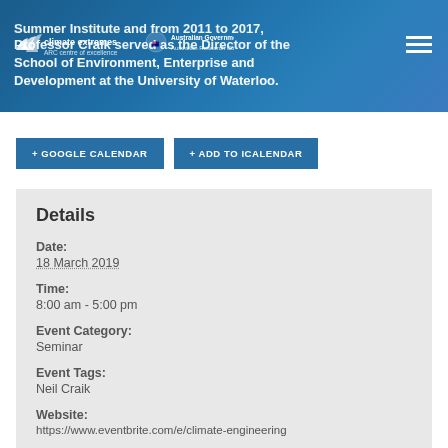Summer Institute and from 2011 to 2017, Professor Craik served as the Director of the School of Environment, Enterprise and Development at the University of Waterloo.
+ GOOGLE CALENDAR
+ ADD TO ICALENDAR
Details
Date:
18 March 2019
Time:
8:00 am - 5:00 pm
Event Category:
Seminar
Event Tags:
Neil Craik
Website:
https://www.eventbrite.com/e/climate-engineering